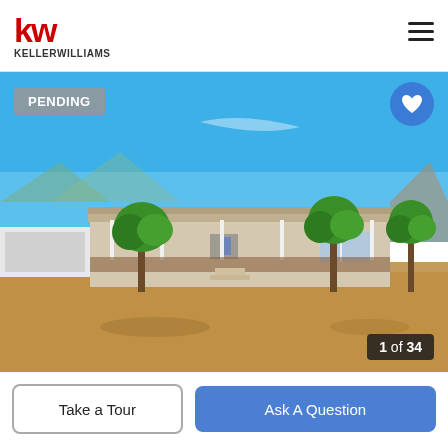[Figure (logo): Keller Williams logo with red KW initials and KELLERWILLIAMS text below]
[Figure (photo): Exterior photo of a single-story ranch house with covered porch, three green trees in front yard, dirt/sandy lot, blue sky background, Arizona desert setting. Badge: PENDING top-left, heart icon top-right, photo counter '1 of 34' bottom-right.]
Take a Tour
Ask A Question